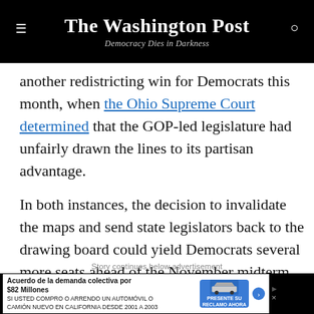The Washington Post — Democracy Dies in Darkness
another redistricting win for Democrats this month, when the Ohio Supreme Court determined that the GOP-led legislature had unfairly drawn the lines to its partisan advantage.
In both instances, the decision to invalidate the maps and send state legislators back to the drawing board could yield Democrats several more seats ahead of the November midterm election, when control of Congress will turn on a handful of races.
Story continues below advertisement
[Figure (screenshot): Advertisement banner: Acuerdo de la demanda colectiva por $82 Millones. SI USTED COMPRO O ARRENDO UN AUTOMÓVIL O CAMIÓN NUEVO EN CALIFORNIA DESDE 2001 A 2003. PRESENTE SU RECLAMO AHORA]